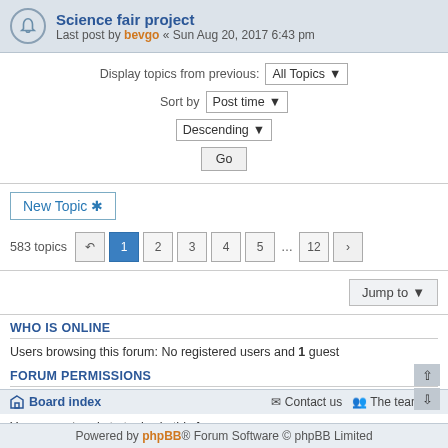Science fair project — Last post by bevgo « Sun Aug 20, 2017 6:43 pm
Display topics from previous: All Topics ▼
Sort by Post time ▼
Descending ▼
Go
New Topic ✱
583 topics  1 2 3 4 5 ... 12 ›
Jump to ▼
WHO IS ONLINE
Users browsing this forum: No registered users and 1 guest
FORUM PERMISSIONS
You cannot post new topics in this forum
You cannot reply to topics in this forum
You cannot edit your posts in this forum
You cannot delete your posts in this forum
Board index  Contact us  The team  ≡  ↑  Powered by phpBB® Forum Software © phpBB Limited